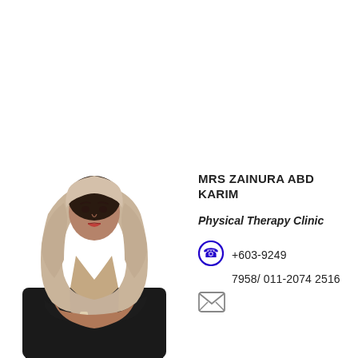[Figure (photo): Professional photo of Mrs Zainura Abd Karim, a woman wearing a beige hijab and black blazer, arms crossed, white background]
MRS ZAINURA ABD KARIM
Physical Therapy Clinic
+603-9249
7958/ 011-2074 2516